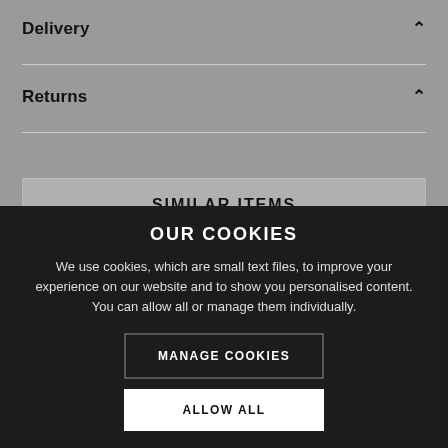Delivery
Returns
SIMILAR ITEMS
OUR COOKIES
We use cookies, which are small text files, to improve your experience on our website and to show you personalised content. You can allow all or manage them individually.
MANAGE COOKIES
ALLOW ALL